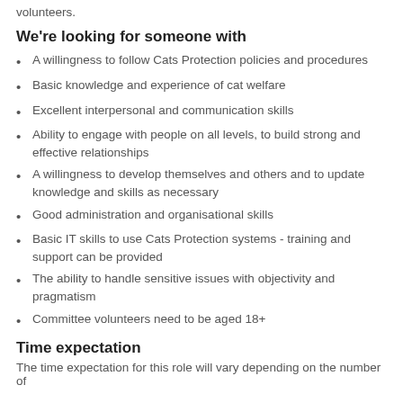volunteers.
We're looking for someone with
A willingness to follow Cats Protection policies and procedures
Basic knowledge and experience of cat welfare
Excellent interpersonal and communication skills
Ability to engage with people on all levels, to build strong and effective relationships
A willingness to develop themselves and others and to update knowledge and skills as necessary
Good administration and organisational skills
Basic IT skills to use Cats Protection systems - training and support can be provided
The ability to handle sensitive issues with objectivity and pragmatism
Committee volunteers need to be aged 18+
Time expectation
The time expectation for this role will vary depending on the number of